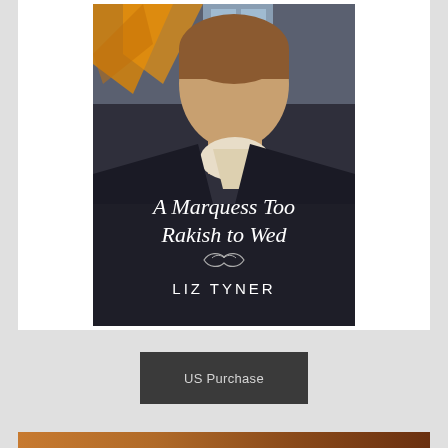[Figure (illustration): Book cover for 'A Marquess Too Rakish to Wed' by Liz Tyner. Shows a handsome man in Regency-era dark coat with cravat, looking sideways. Background has orange geometric shapes and a window. Title text overlaid in white serif font, with decorative swirl, and author name LIZ TYNER in white capitals.]
US Purchase